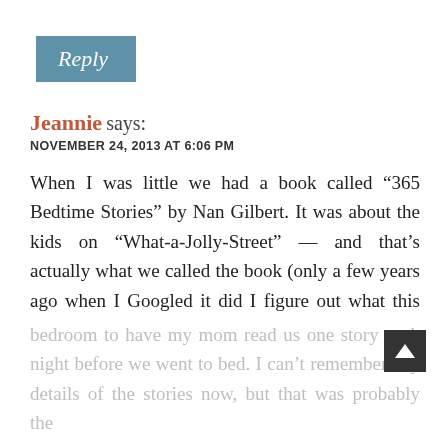Reply
Jeannie says:
NOVEMBER 24, 2013 AT 6:06 PM
When I was little we had a book called “365 Bedtime Stories” by Nan Gilbert. It was about the kids on “What-a-Jolly-Street” — and that’s actually what we called the book (only a few years ago when I Googled it did I figure out what this book was actually called). There was a one-page chapter for every day of the year, and my brothers and I would gather in the bedroom to have my mom read us one story each night before we went to bed. I can’t remember any details of the stories now, but that was probably the